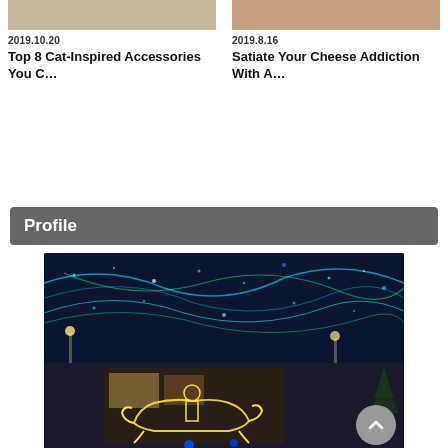[Figure (photo): Photo of cat-inspired accessories or food items]
2019.10.20
Top 8 Cat-Inspired Accessories You C…
[Figure (photo): Photo of cheese or food items]
2019.8.16
Satiate Your Cheese Addiction With A…
Profile
[Figure (photo): Night photo of Christmas illumination with lights and a sleigh decoration]